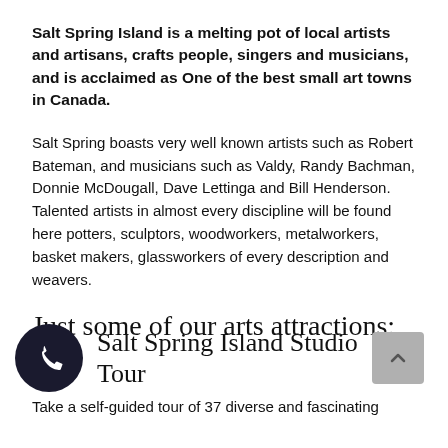Salt Spring Island is a melting pot of local artists and artisans, crafts people, singers and musicians, and is acclaimed as One of the best small art towns in Canada.
Salt Spring boasts very well known artists such as Robert Bateman, and musicians such as Valdy, Randy Bachman, Donnie McDougall, Dave Lettinga and Bill Henderson. Talented artists in almost every discipline will be found here potters, sculptors, woodworkers, metalworkers, basket makers, glassworkers of every description and weavers.
Just some of our arts attractions:
Salt Spring Island Studio Tour
Take a self-guided tour of 37 diverse and fascinating